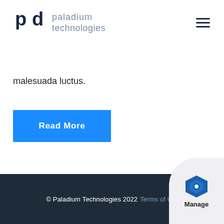[Figure (logo): Paladium Technologies logo with 'pd' icon and text 'paladium technologies']
malesuada luctus.
Read More
© Paladium Technologies 2022 Terms of U...
[Figure (logo): Manage badge with blue hexagon icon and 'Manage' text]